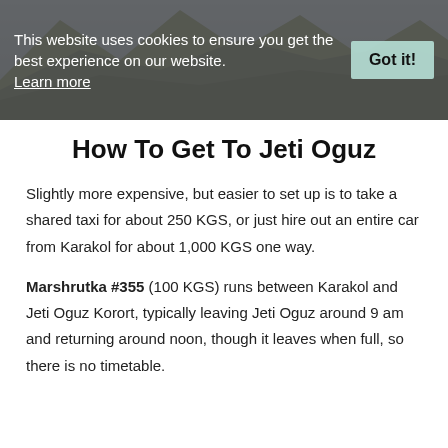[Figure (photo): Mountain landscape with trees and rocky terrain, partially obscured by a cookie consent banner]
This website uses cookies to ensure you get the best experience on our website. Learn more Got it!
How To Get To Jeti Oguz
Slightly more expensive, but easier to set up is to take a shared taxi for about 250 KGS, or just hire out an entire car from Karakol for about 1,000 KGS one way.
Marshrutka #355 (100 KGS) runs between Karakol and Jeti Oguz Korort, typically leaving Jeti Oguz around 9 am and returning around noon, though it leaves when full, so there is no timetable.